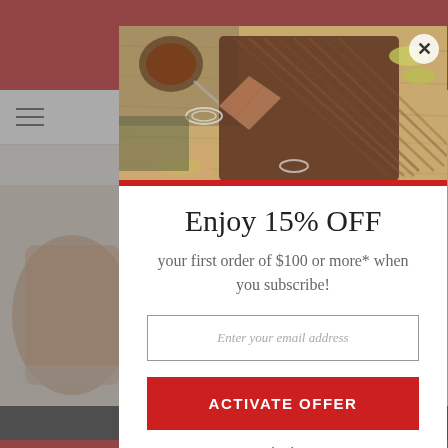[Figure (screenshot): Website background showing a header with red banner, navigation bar with hamburger menu and cart icon, product listing area with meat products on left and right sides, and a dark bottom notification bar.]
[Figure (photo): Modal popup header image showing sliced BBQ brisket on a wooden cutting board with sauce, pickled peppers, and onion rings.]
Enjoy 15% OFF
your first order of $100 or more* when you subscribe!
Enter your email address
ACTIVATE OFFER
No Thank You